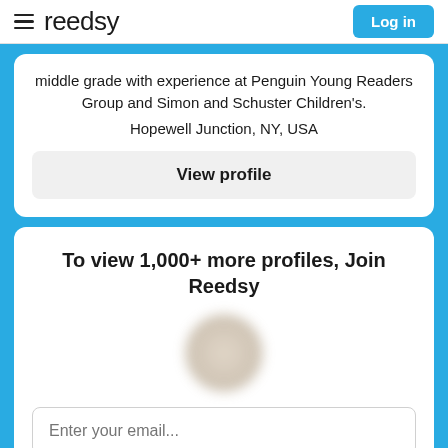reedsy | Log in
middle grade with experience at Penguin Young Readers Group and Simon and Schuster Children's.
Hopewell Junction, NY, USA
View profile
To view 1,000+ more profiles, Join Reedsy
Enter your email...
Get Started